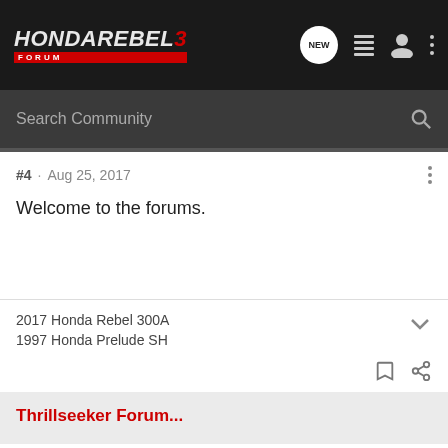Honda Rebel 3 Forum
Search Community
#4 · Aug 25, 2017
Welcome to the forums.
2017 Honda Rebel 300A
1997 Honda Prelude SH
Thrillseeker Forum...